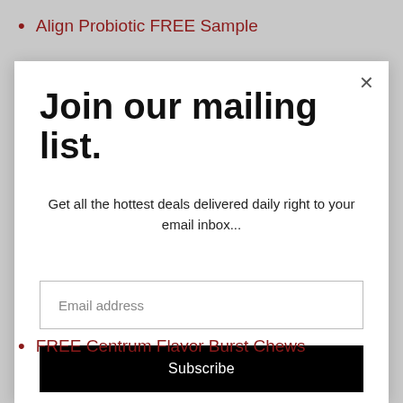Align Probiotic FREE Sample
Join our mailing list.
Get all the hottest deals delivered daily right to your email inbox...
Email address
Subscribe
FREE Centrum Flavor Burst Chews